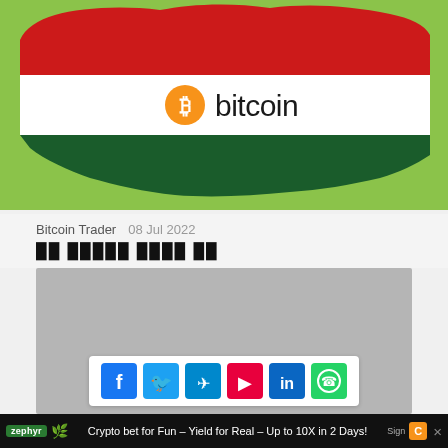[Figure (illustration): Hungary map silhouette filled with Hungarian flag colors (red top, white middle, dark green bottom) on a light green background, with bitcoin logo (orange circle with B symbol and the word bitcoin) centered in the white stripe]
Bitcoin Trader   08 Jul 2022
██████ ████ ██
[Figure (screenshot): Gray placeholder content area for article body]
[Figure (infographic): Social share bar with icons for Facebook, Twitter, Telegram, YouTube, LinkedIn, WhatsApp]
Crypto bet for Fun – Yield for Real – Up to 10X in 2 Days!